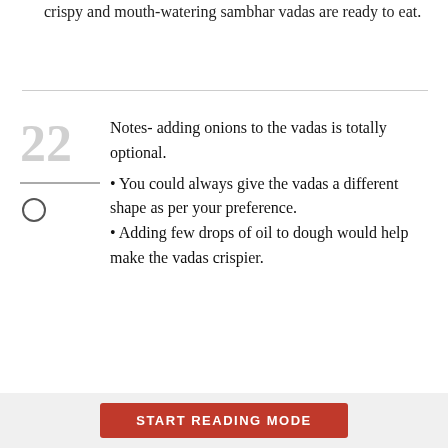crispy and mouth-watering sambhar vadas are ready to eat.
Notes- adding onions to the vadas is totally optional.
• You could always give the vadas a different shape as per your preference.
• Adding few drops of oil to dough would help make the vadas crispier.
START READING MODE